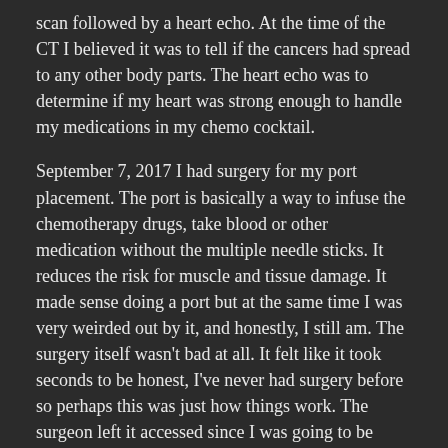scan followed by a heart echo. At the time of the CT I believed it was to tell if the cancers had spread to any other body parts. The heart echo was to determine if my heart was strong enough to handle my medications in my chemo cocktail.
September 7, 2017 I had surgery for my port placement. The port is basically a way to infuse the chemotherapy drugs, take blood or other medication without the multiple needle sticks. It reduces the risk for muscle and tissue damage. It made sense doing a port but at the same time I was very weirded out by it, and honestly, I still am. The surgery itself wasn't bad at all. It felt like it took seconds to be honest, I've never had surgery before so perhaps this was just how things work. The surgeon left it accessed since I was going to be receiving chemo the next day. Yes, everything moved that fast. I still wasn't sure how the port worked or what it would look like